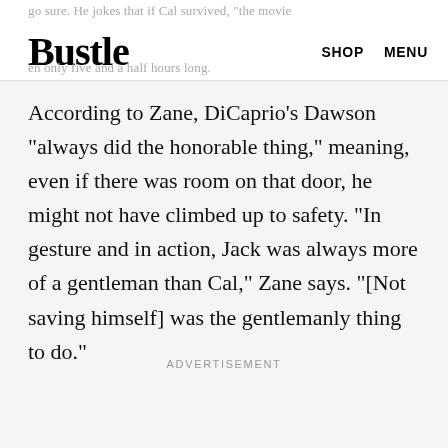Bustle | SHOP MENU
According to Zane, DiCaprio's Dawson "always did the honorable thing," meaning, even if there was room on that door, he might not have climbed up to safety. "In gesture and in action, Jack was always more of a gentleman than Cal," Zane says. "[Not saving himself] was the gentlemanly thing to do."
ADVERTISEMENT